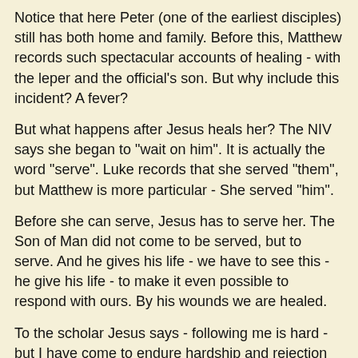Notice that here Peter (one of the earliest disciples) still has both home and family. Before this, Matthew records such spectacular accounts of healing - with the leper and the official's son. But why include this incident? A fever?
But what happens after Jesus heals her? The NIV says she began to "wait on him". It is actually the word "serve". Luke records that she served "them", but Matthew is more particular - She served "him".
Before she can serve, Jesus has to serve her. The Son of Man did not come to be served, but to serve. And he gives his life - we have to see this - he give his life - to make it even possible to respond with ours. By his wounds we are healed.
To the scholar Jesus says - following me is hard - but I have come to endure hardship and rejection on your behalf
To the son Jesus says - following me is demanding - but I have met all the demands with my death.
And on the cross - Jesus says to all of us - this is the